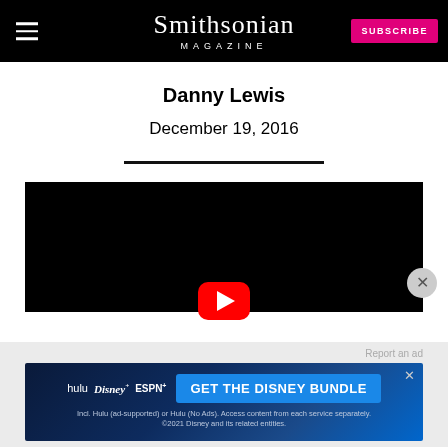Smithsonian Magazine | SUBSCRIBE
Danny Lewis
December 19, 2016
[Figure (screenshot): YouTube video embed with black background and red play button]
[Figure (screenshot): Disney Bundle advertisement banner: hulu Disney+ ESPN+ GET THE DISNEY BUNDLE. Incl. Hulu (ad-supported) or Hulu (No Ads). Access content from each service separately. ©2021 Disney and its related entities.]